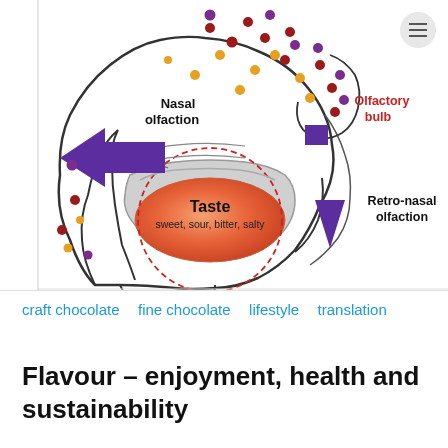[Figure (illustration): Anatomical diagram showing nasal and retro-nasal olfaction with a cross-section of the human head. Labels indicate 'Nasal olfaction' (left, with purple arrow pointing left), 'Olfactory bulb' (top right), 'Retro-nasal olfaction' (right, with purple arrow pointing down-right), and 'Taste - sweet, sour, bitter, salty' in the tongue/mouth area shown in orange with a red dashed circle. Colored dots (orange, red, purple) represent aroma molecules.]
craft chocolate  fine chocolate  lifestyle  translation
Flavour – enjoyment, health and sustainability